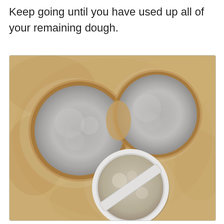Keep going until you have used up all of your remaining dough.
[Figure (photo): Close-up photograph of dough on a floured surface with two round impressions already cut out (showing round metal cutter indentations filled with grey flour dust) and a round cookie/biscuit cutter with a cross-bar handle placed on the dough below them, ready to cut another round.]